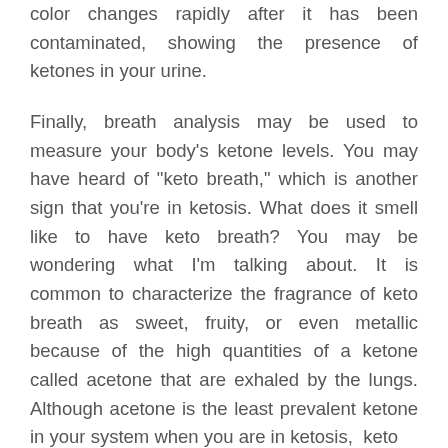color changes rapidly after it has been contaminated, showing the presence of ketones in your urine.
Finally, breath analysis may be used to measure your body's ketone levels. You may have heard of “keto breath,” which is another sign that you’re in ketosis. What does it smell like to have keto breath? You may be wondering what I’m talking about. It is common to characterize the fragrance of keto breath as sweet, fruity, or even metallic because of the high quantities of a ketone called acetone that are exhaled by the lungs. Although acetone is the least prevalent ketone in your system when you are in ketosis, keto